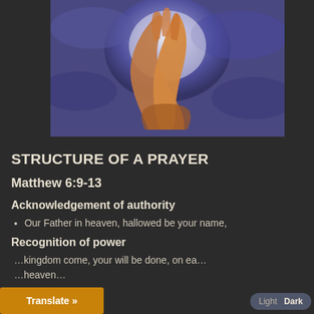[Figure (photo): Praying hands raised upward against a blue/purple cloudy sky background with a bright light behind them]
STRUCTURE OF A PRAYER
Matthew 6:9-13
Acknowledgement of authority
Our Father in heaven, hallowed be your name,
Recognition of power
…kingdom come, your will be done, on ea…
…heaven…